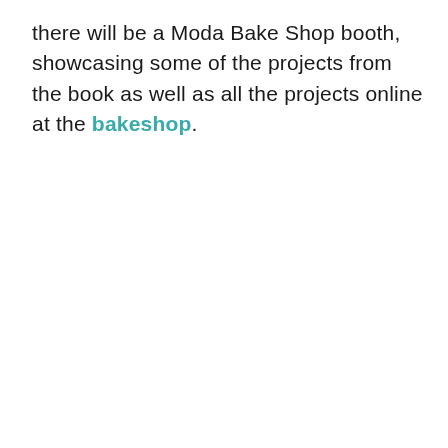there will be a Moda Bake Shop booth, showcasing some of the projects from the book as well as all the projects online at the bakeshop.